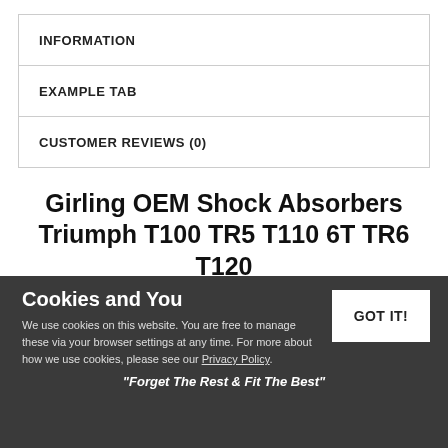INFORMATION
EXAMPLE TAB
CUSTOMER REVIEWS (0)
Girling OEM Shock Absorbers Triumph T100 TR5 T110 6T TR6 T120 Bonneville 110LBS
We Are A Fully Authorised Girling Stockist
Cookies and You
We use cookies on this website. You are free to manage these via your browser settings at any time. For more about how we use cookies, please see our Privacy Policy.
"Forget The Rest & Fit The Best"
GOT IT!